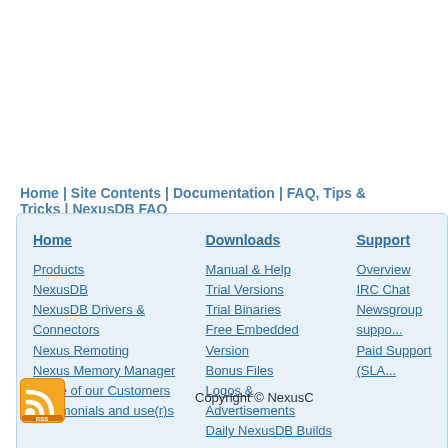Home | Site Contents | Documentation | FAQ, Tips & Tricks | NexusDB FAQ
Home — Downloads — Support (navigation menu columns)
Products, NexusDB, NexusDB Drivers & Connectors, Nexus Remoting, Nexus Memory Manager, Some of our Customers, Testimonials and use(r)s
Manual & Help, Trial Versions, Trial Binaries, Free Embedded Version, Bonus Files, Logos & Advertisements, Daily NexusDB Builds
Overview, IRC Chat, Newsgroup support, Paid Support (SLA)
[Figure (logo): RSS feed icon - orange square with white RSS symbol]
Copyright © NexusC